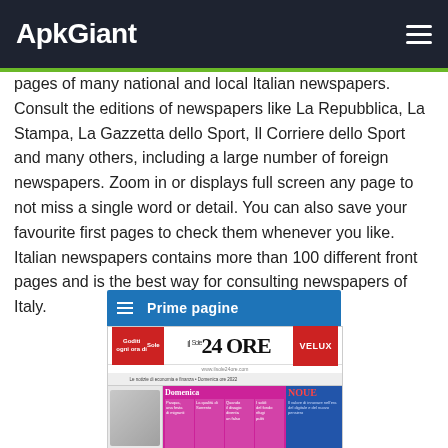ApkGiant
pages of many national and local Italian newspapers. Consult the editions of newspapers like La Repubblica, La Stampa, La Gazzetta dello Sport, Il Corriere dello Sport and many others, including a large number of foreign newspapers. Zoom in or displays full screen any page to not miss a single word or detail. You can also save your favourite first pages to check them whenever you like. Italian newspapers contains more than 100 different front pages and is the best way for consulting newspapers of Italy.
[Figure (screenshot): Screenshot of an Italian newspaper app showing 'Prime pagine' navigation bar in blue and a thumbnail of Il Sole 24 ORE newspaper front page with a Domenica section in magenta/pink featuring various articles.]